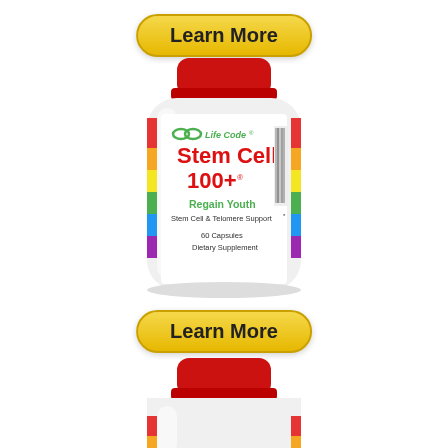[Figure (photo): Learn More button (top) - yellow rounded rectangle button with bold text 'Learn More']
[Figure (photo): Life Code Stem Cell 100+ dietary supplement bottle, white with red cap, label shows 'Life Code Stem Cell 100+ Regain Youth Stem Cell & Telomere Support 60 Capsules Dietary Supplement', colorful rainbow stripe on left side of label]
[Figure (photo): Learn More button (bottom) - yellow rounded rectangle button with bold text 'Learn More']
[Figure (photo): Partial second Life Code Stem Cell 100+ bottle showing red cap and top of white bottle body]